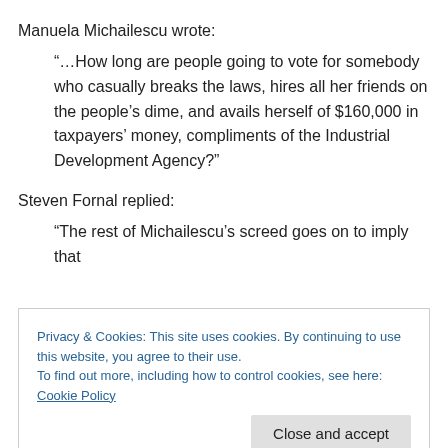Manuela Michailescu wrote:
“…How long are people going to vote for somebody who casually breaks the laws, hires all her friends on the people’s dime, and avails herself of $160,000 in taxpayers’ money, compliments of the Industrial Development Agency?”
Steven Fornal replied:
“The rest of Michailescu’s screed goes on to imply that
Privacy & Cookies: This site uses cookies. By continuing to use this website, you agree to their use.
To find out more, including how to control cookies, see here: Cookie Policy
breaks was no different than any other business that